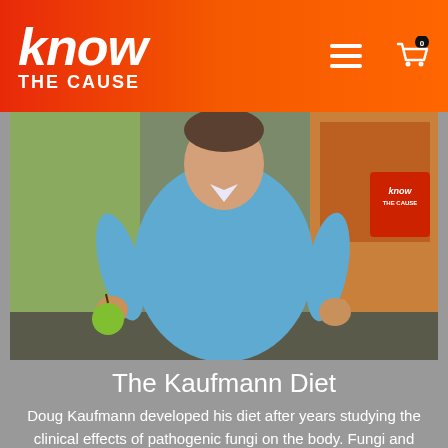know THE CAUSE
[Figure (photo): A man in a blue button-up shirt holding a green apple in his left hand and gesturing with his right hand, standing in front of a 'Know The Cause' branded TV set backdrop.]
The Kaufmann Diet
Doug Kaufmann developed his diet after years studying the clinical effects of pathogenic fungi on the body. Fungi and yeasts can become parasitic organisms on and inside our body, causing health problems that can be